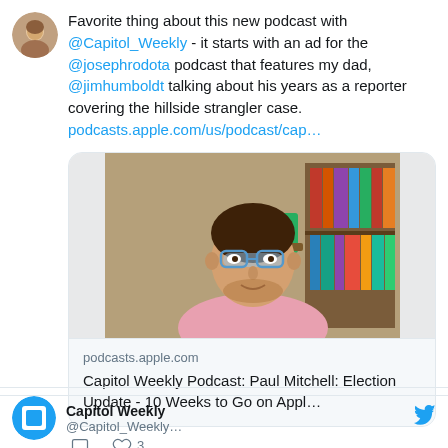Favorite thing about this new podcast with @Capitol_Weekly - it starts with an ad for the @josephrodota podcast that features my dad, @jimhumboldt talking about his years as a reporter covering the hillside strangler case. podcasts.apple.com/us/podcast/cap…
[Figure (photo): Embedded Twitter link card showing a man with glasses in a pink shirt sitting in front of a bookshelf. The link card points to podcasts.apple.com with title 'Capitol Weekly Podcast: Paul Mitchell: Election Update - 10 Weeks to Go on Appl...']
3 likes, reply and like icons
Capitol Weekly @Capitol_Weekly...